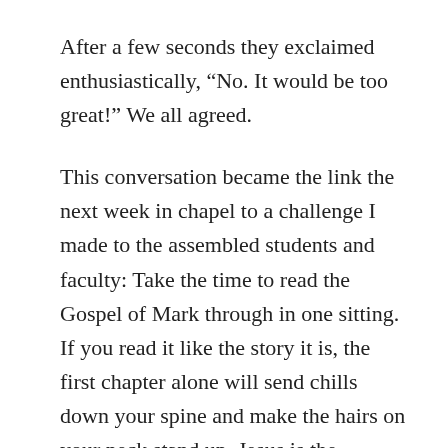After a few seconds they exclaimed enthusiastically, “No. It would be too great!” We all agreed.
This conversation became the link the next week in chapel to a challenge I made to the assembled students and faculty: Take the time to read the Gospel of Mark through in one sitting. If you read it like the story it is, the first chapter alone will send chills down your spine and make the hairs on your neck stand up. Jesus is the ultimate epic hero. His is the story we were all designed to love. As a then-about